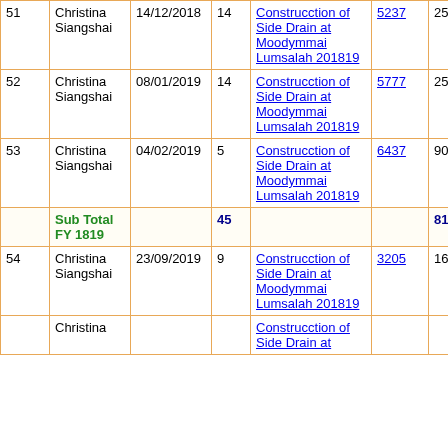| # | Name | Date | Days | Description | ID | Amount | 0 |
| --- | --- | --- | --- | --- | --- | --- | --- |
| 51 | Christina Siangshai | 14/12/2018 | 14 | Construcction of Side Drain at Moodymmai Lumsalah 201819 | 5237 | 2534 | 0 |
| 52 | Christina Siangshai | 08/01/2019 | 14 | Construcction of Side Drain at Moodymmai Lumsalah 201819 | 5777 | 2534 | 0 |
| 53 | Christina Siangshai | 04/02/2019 | 5 | Construcction of Side Drain at Moodymmai Lumsalah 201819 | 6437 | 905 | 0 |
|  | Sub Total FY 1819 |  | 45 |  |  | 8145 | 0 |
| 54 | Christina Siangshai | 23/09/2019 | 9 | Construcction of Side Drain at Moodymmai Lumsalah 201819 | 3205 | 1683 | 0 |
| 55 | Christina... |  |  | Construcction of Side Drain at... |  |  |  |